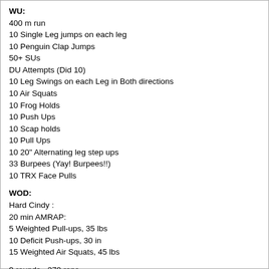[B]WU:[/B]
400 m run
10 Single Leg jumps on each leg
10 Penguin Clap Jumps
50+ SUs
DU Attempts (Did 10)
10 Leg Swings on each Leg in Both directions
10 Air Squats
10 Frog Holds
10 Push Ups
10 Scap holds
10 Pull Ups
10 20" Alternating leg step ups
33 Burpees (Yay! Burpees!!)
10 TRX Face Pulls
[B]WOD:[/B]
Hard Cindy :
20 min AMRAP:
5 Weighted Pull-ups, 35 lbs
10 Deficit Push-ups, 30 in
15 Weighted Air Squats, 45 lbs
9 rounds= 270 reps
[I]It was (Hard)! The rounds took me about 3 min each. I suppose I could have gotten some more reps... but it wasn't to be.[/I]
[B]Evening:[/B]
1.21 mi Dogwalk